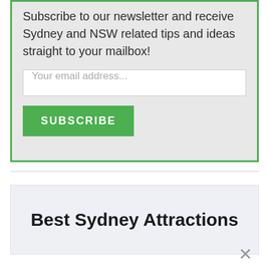Subscribe to our newsletter and receive Sydney and NSW related tips and ideas straight to your mailbox!
Your email address...
SUBSCRIBE
Best Sydney Attractions